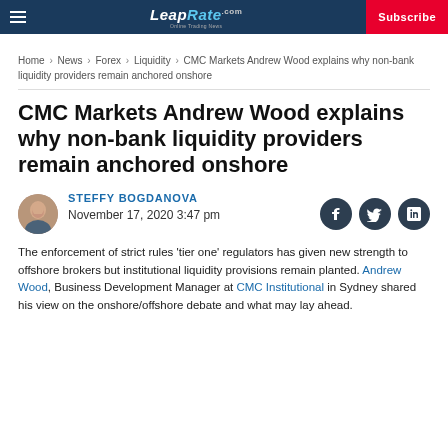LeapRate.com | Subscribe
Home › News › Forex › Liquidity › CMC Markets Andrew Wood explains why non-bank liquidity providers remain anchored onshore
CMC Markets Andrew Wood explains why non-bank liquidity providers remain anchored onshore
STEFFY BOGDANOVA
November 17, 2020 3:47 pm
The enforcement of strict rules 'tier one' regulators has given new strength to offshore brokers but institutional liquidity provisions remain planted. Andrew Wood, Business Development Manager at CMC Institutional in Sydney shared his view on the onshore/offshore debate and what may lay ahead.